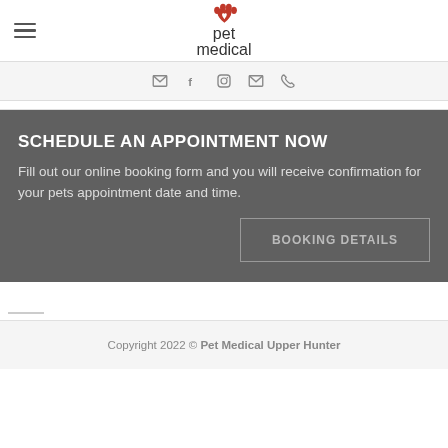[Figure (logo): Pet Medical logo with red paw print and heart icon above text 'pet medical']
[Figure (infographic): Social media icons row: email, facebook, instagram, email, phone]
SCHEDULE AN APPOINTMENT NOW
Fill out our online booking form and you will receive confirmation for your pets appointment date and time.
BOOKING DETAILS
Copyright 2022 © Pet Medical Upper Hunter